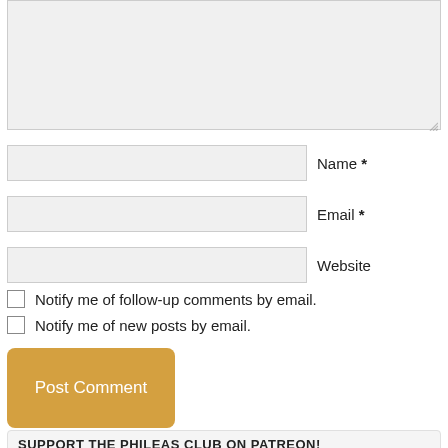[Figure (screenshot): Comment form textarea (large grey input box at top)]
Name *
Email *
Website
Notify me of follow-up comments by email.
Notify me of new posts by email.
Post Comment
SUPPORT THE PHILEAS CLUB ON PATREON!